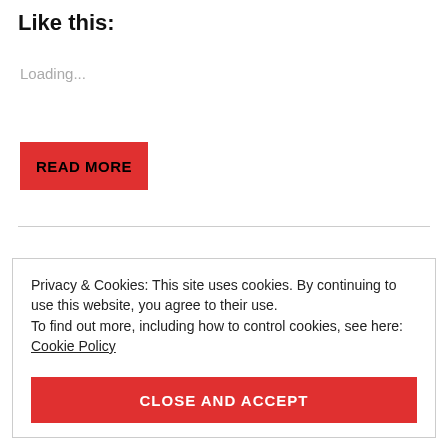Like this:
Loading...
READ MORE
Privacy & Cookies: This site uses cookies. By continuing to use this website, you agree to their use.
To find out more, including how to control cookies, see here:
Cookie Policy
CLOSE AND ACCEPT